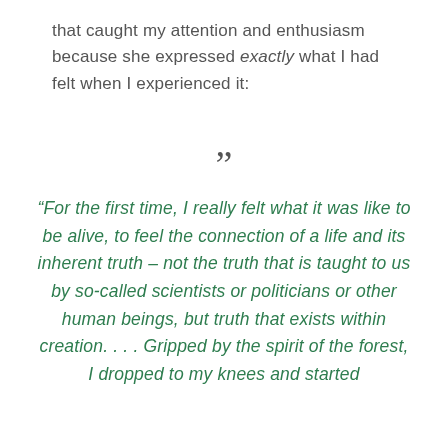that caught my attention and enthusiasm because she expressed exactly what I had felt when I experienced it:
”
“For the first time, I really felt what it was like to be alive, to feel the connection of a life and its inherent truth – not the truth that is taught to us by so-called scientists or politicians or other human beings, but truth that exists within creation. . . . Gripped by the spirit of the forest, I dropped to my knees and started